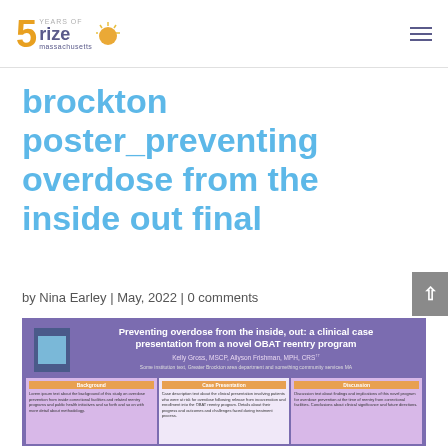5 years of rize massachusetts — navigation menu
brockton poster_preventing overdose from the inside out final
by Nina Earley | May, 2022 | 0 comments
[Figure (other): Preview thumbnail of a medical conference poster titled 'Preventing overdose from the inside, out: a clinical case presentation from a novel OBAT reentry program' by Kelly Gross, MSCP, Allyson Frishman, MPH, CRS with multi-column layout on purple background]